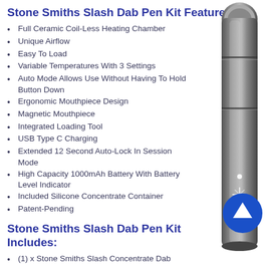Stone Smiths Slash Dab Pen Kit Features:
Full Ceramic Coil-Less Heating Chamber
Unique Airflow
Easy To Load
Variable Temperatures With 3 Settings
Auto Mode Allows Use Without Having To Hold Button Down
Ergonomic Mouthpiece Design
Magnetic Mouthpiece
Integrated Loading Tool
USB Type C Charging
Extended 12 Second Auto-Lock In Session Mode
High Capacity 1000mAh Battery With Battery Level Indicator
Included Silicone Concentrate Container
Patent-Pending
[Figure (photo): Black dab pen device shown vertically against white background]
Stone Smiths Slash Dab Pen Kit Includes:
(1) x Stone Smiths Slash Concentrate Dab